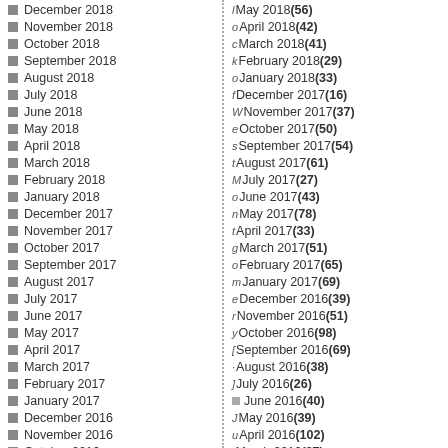December 2018
November 2018
October 2018
September 2018
August 2018
July 2018
June 2018
May 2018
April 2018
March 2018
February 2018
January 2018
December 2017
November 2017
October 2017
September 2017
August 2017
July 2017
June 2017
May 2017
April 2017
March 2017
February 2017
January 2017
December 2016
November 2016
October 2016
May 2018 (56)
April 2018 (42)
March 2018 (41)
February 2018 (29)
January 2018 (33)
December 2017 (16)
November 2017 (37)
October 2017 (50)
September 2017 (54)
August 2017 (61)
July 2017 (27)
June 2017 (43)
May 2017 (78)
April 2017 (33)
March 2017 (51)
February 2017 (65)
January 2017 (69)
December 2016 (39)
November 2016 (51)
October 2016 (98)
September 2016 (69)
August 2016 (38)
July 2016 (26)
June 2016 (40)
May 2016 (39)
April 2016 (102)
March 2016 (97)